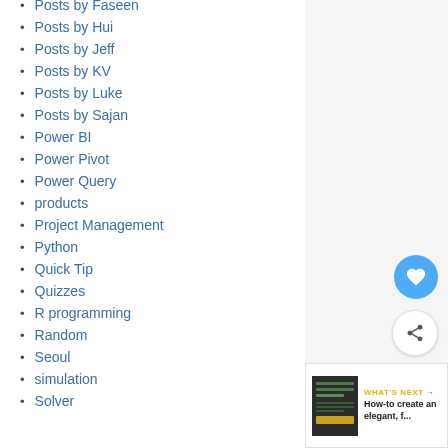Posts by Faseen
Posts by Hui
Posts by Jeff
Posts by KV
Posts by Luke
Posts by Sajan
Power BI
Power Pivot
Power Query
products
Project Management
Python
Quick Tip
Quizzes
R programming
Random
Seoul
simulation
Solver
[Figure (screenshot): WHAT'S NEXT card with thumbnail of Excel workbook and partial title 'How-to create an elegant, f...']